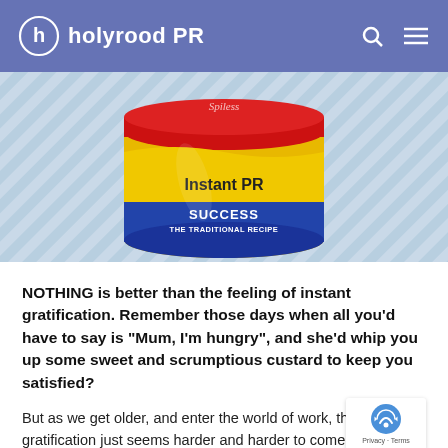holyrood PR
[Figure (illustration): A can labeled 'Instant PR SUCCESS THE TRADITIONAL RECIPE' on a light blue diagonal-striped background]
NOTHING is better than the feeling of instant gratification. Remember those days when all you'd have to say is “Mum, I’m hungry”, and she’d whip you up some sweet and scrumptious custard to keep you satisfied?
But as we get older, and enter the world of work, that instant gratification just seems harder and harder to come by.
If only there could be that quick fix that...